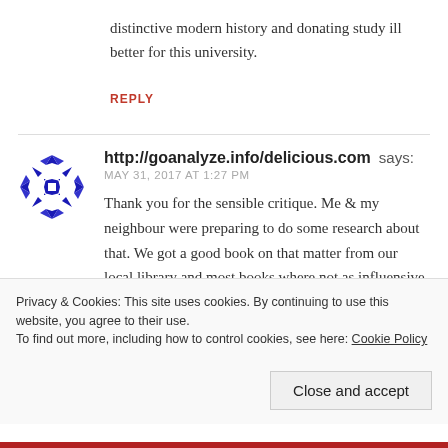distinctive modern history and donating study ill better for this university.
REPLY
http://goanalyze.info/delicious.com says:
MAY 31, 2017 AT 1:27 PM
Thank you for the sensible critique. Me & my neighbour were preparing to do some research about that. We got a good book on that matter from our local library and most books where not as influensive as your information. I am
Privacy & Cookies: This site uses cookies. By continuing to use this website, you agree to their use.
To find out more, including how to control cookies, see here: Cookie Policy
Close and accept